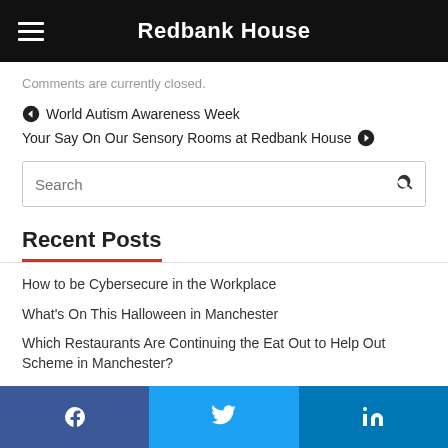Redbank House
Comments are currently closed.
❮ World Autism Awareness Week
Your Say On Our Sensory Rooms at Redbank House ❯
Search
Recent Posts
How to be Cybersecure in the Workplace
What's On This Halloween in Manchester
Which Restaurants Are Continuing the Eat Out to Help Out Scheme in Manchester?
Homemade Gift Ideas for Mother's Day
3 Ways to Practice Recycling in the Workplace
Facebook Twitter LinkedIn